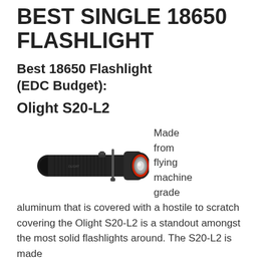BEST SINGLE 18650 FLASHLIGHT
Best 18650 Flashlight (EDC Budget):
Olight S20-L2
[Figure (photo): Photo of Olight S20-L2 flashlight, a black tactical flashlight with red lens ring, shown at an angle]
Made from flying machine grade aluminum that is covered with a hostile to scratch covering the Olight S20-L2 is a standout amongst the most solid flashlights around. The S20-L2 is made